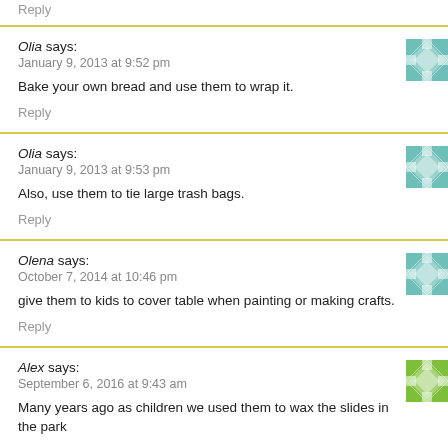Reply
Olia says:
January 9, 2013 at 9:52 pm
Bake your own bread and use them to wrap it.
Reply
Olia says:
January 9, 2013 at 9:53 pm
Also, use them to tie large trash bags.
Reply
Olena says:
October 7, 2014 at 10:46 pm
give them to kids to cover table when painting or making crafts.
Reply
Alex says:
September 6, 2016 at 9:43 am
Many years ago as children we used them to wax the slides in the park